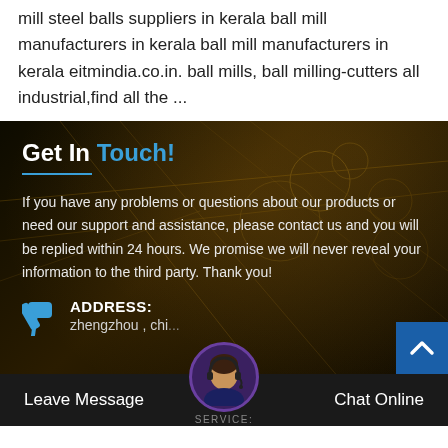mill steel balls suppliers in kerala ball mill manufacturers in kerala ball mill manufacturers in kerala eitmindia.co.in. ball mills, ball milling-cutters all industrial,find all the ...
Get In Touch!
If you have any problems or questions about our products or need our support and assistance, please contact us and you will be replied within 24 hours. We promise we will never reveal your information to the third party. Thank you!
ADDRESS:
zhengzhou , chi...
Leave Message
Chat Online
SERVICE: